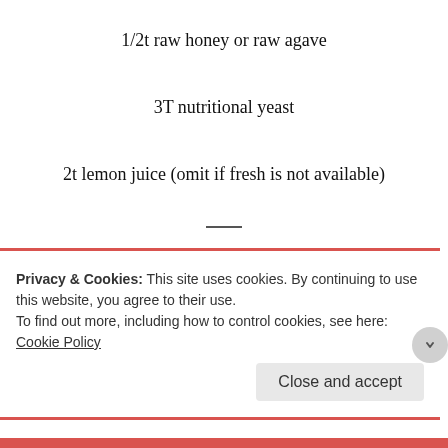1/2t raw honey or raw agave
3T nutritional yeast
2t lemon juice (omit if fresh is not available)
Step 1.
In a Vitamix or high-powered blender, add the cashews (drained if soaked), the probiotic powder
Privacy & Cookies: This site uses cookies. By continuing to use this website, you agree to their use.
To find out more, including how to control cookies, see here: Cookie Policy
Close and accept